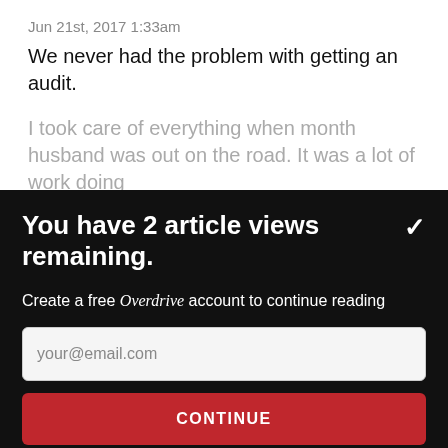Jun 21st, 2017 1:33am
We never had the problem with getting an audit.
I took care of everything when month husband was out on the road. It was a lot of work doing
You have 2 article views remaining.
Create a free Overdrive account to continue reading
your@email.com
CONTINUE